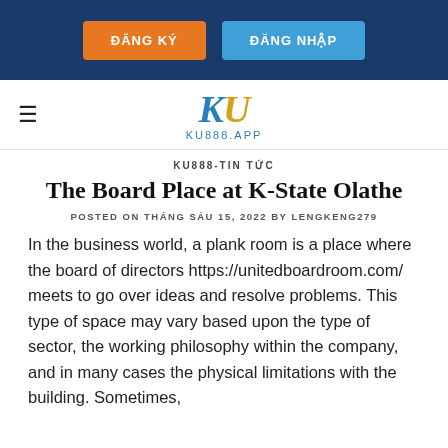ĐĂNG KÝ | ĐĂNG NHẬP
[Figure (logo): KU888.APP logo with stylized K in blue and U in gold, with text KU888.APP below]
KU888-TIN TỨC
The Board Place at K-State Olathe
POSTED ON THÁNG SÁU 15, 2022 BY LENGKENG279
In the business world, a plank room is a place where the board of directors https://unitedboardroom.com/ meets to go over ideas and resolve problems. This type of space may vary based upon the type of sector, the working philosophy within the company, and in many cases the physical limitations with the building. Sometimes,